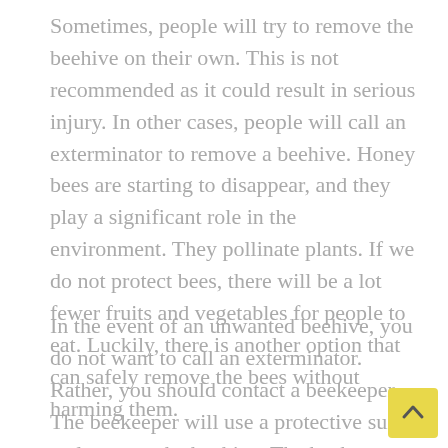Sometimes, people will try to remove the beehive on their own. This is not recommended as it could result in serious injury. In other cases, people will call an exterminator to remove a beehive. Honey bees are starting to disappear, and they play a significant role in the environment. They pollinate plants. If we do not protect bees, there will be a lot fewer fruits and vegetables for people to eat. Luckily, there is another option that can safely remove the bees without harming them.
In the event of an unwanted beehive, you do not want to call an exterminator. Rather, you should contact a beekeeper. The beekeeper will use a protective suit and remove the beehive. The beekeeper will do this without harming the bees. The beekeeper will often relocate the bees to their bee farm. The amount they charge for their services will vary. There are several factors that play a r...